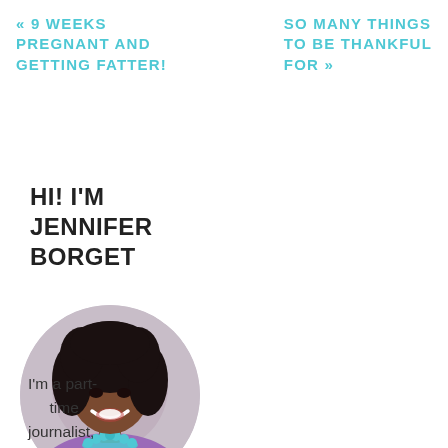« 9 WEEKS PREGNANT AND GETTING FATTER!
SO MANY THINGS TO BE THANKFUL FOR »
HI! I'M JENNIFER BORGET
[Figure (photo): Circular portrait photo of Jennifer Borget, a smiling woman with curly black hair, wearing a purple top and teal statement necklace, against a light gray background.]
I'm a part-time journalist, full-time